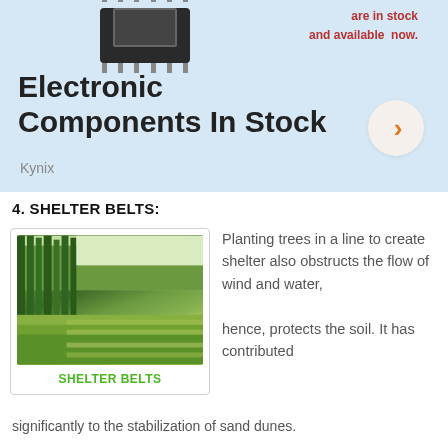[Figure (infographic): Advertisement banner with electronic chip image, text 'Electronic Components In Stock', arrow circle button, and Kynix branding on light blue background]
4. SHELTER BELTS:
[Figure (photo): Photograph of shelter belt trees planted in a line alongside a crop field]
SHELTER BELTS
Planting trees in a line to create shelter also obstructs the flow of wind and water,
hence, protects the soil. It has contributed significantly to the stabilization of sand dunes.